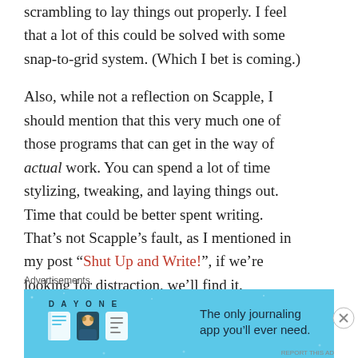scrambling to lay things out properly. I feel that a lot of this could be solved with some snap-to-grid system. (Which I bet is coming.)
Also, while not a reflection on Scapple, I should mention that this very much one of those programs that can get in the way of actual work. You can spend a lot of time stylizing, tweaking, and laying things out. Time that could be better spent writing. That’s not Scapple’s fault, as I mentioned in my post “Shut Up and Write!”, if we’re looking for distraction, we’ll find it.
Advertisements
[Figure (illustration): Day One journaling app advertisement banner with blue background, showing 'DAY ONE' text, three app icons, and the tagline 'The only journaling app you’ll ever need.']